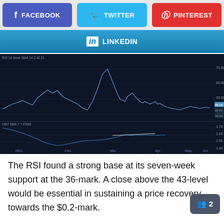[Figure (infographic): Social media share buttons: Facebook (blue-purple), Twitter (light blue), Pinterest (red), and LinkedIn (blue gradient)]
[Figure (continuous-plot): RSI 14 close SMA 14 chart showing two panels: upper panel RSI line chart from 2021 to present with values around 36-80 range; lower panel OBV SMA line chart with values around 1.4b-1.7b range. Dark navy background. Current RSI value approximately 42.15 and 36.59 marked on right axis.]
The RSI found a strong base at its seven-week support at the 36-mark. A close above the 43-level would be essential in sustaining a price recovery towards the $0.2-mark.